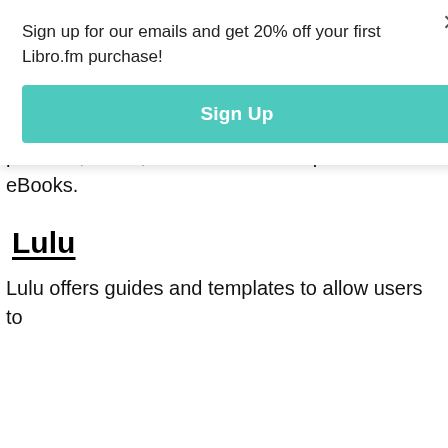Sign up for our emails and get 20% off your first Libro.fm purchase!
Sign Up
Distribution
Blurb
Blurb helps self-publishing authors create, print, promote, share, and sell their own print and eBooks.
Lulu
Lulu offers guides and templates to allow users to